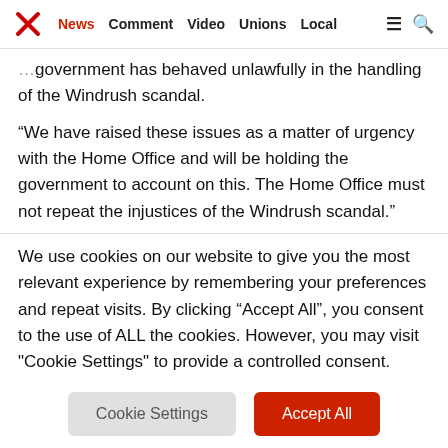News | Comment | Video | Unions | Local
government has behaved unlawfully in the handling of the Windrush scandal.
“We have raised these issues as a matter of urgency with the Home Office and will be holding the government to account on this. The Home Office must not repeat the injustices of the Windrush scandal.”
We use cookies on our website to give you the most relevant experience by remembering your preferences and repeat visits. By clicking “Accept All”, you consent to the use of ALL the cookies. However, you may visit "Cookie Settings" to provide a controlled consent.